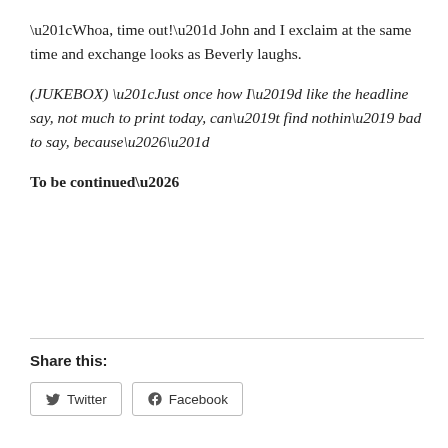“Whoa, time out!” John and I exclaim at the same time and exchange looks as Beverly laughs.
(JUKEBOX) “Just once how I’d like the headline say, not much to print today, can’t find nothin’ bad to say, because…”
To be continued…
Share this:
Twitter  Facebook